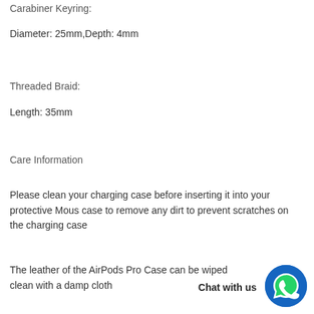Carabiner Keyring:
Diameter: 25mm,Depth: 4mm
Threaded Braid:
Length: 35mm
Care Information
Please clean your charging case before inserting it into your protective Mous case to remove any dirt to prevent scratches on the charging case
The leather of the AirPods Pro Case can be wiped clean with a damp cloth
Chat with us
[Figure (illustration): WhatsApp chat button - blue circular icon with speech bubble]